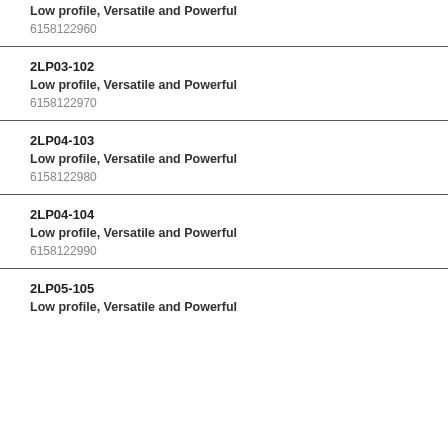Low profile, Versatile and Powerful
6158122960
2LP03-102
Low profile, Versatile and Powerful
6158122970
2LP04-103
Low profile, Versatile and Powerful
6158122980
2LP04-104
Low profile, Versatile and Powerful
6158122990
2LP05-105
Low profile, Versatile and Powerful